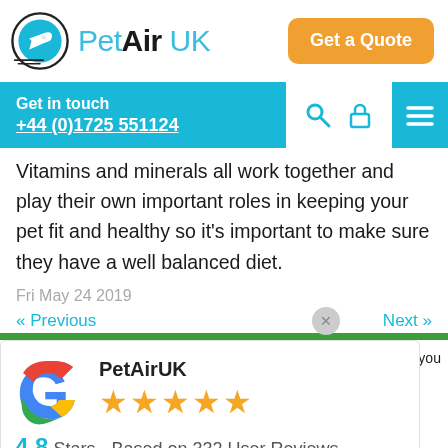[Figure (logo): PetAir UK logo with airplane icon and teal text, orange Get a Quote button]
Get in touch
+44 (0)1725 551124
Vitamins and minerals all work together and play their own important roles in keeping your pet fit and healthy so it's important to make sure they have a well balanced diet.
Fri May 24 2019
« Previous   Next »
[Figure (infographic): Google review widget showing PetAirUK with 4.8 stars based on 332 User Reviews]